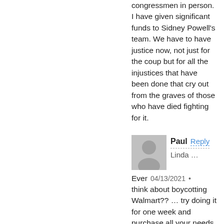congressmen in person. I have given significant funds to Sidney Powell's team. We have to have justice now, not just for the coup but for all the injustices that have been done that cry out from the graves of those who have died fighting for it.
Paul  Reply
Linda …
Ever  04/13/2021 •
think about boycotting Walmart?? … try doing it for one week and purchase all your needs